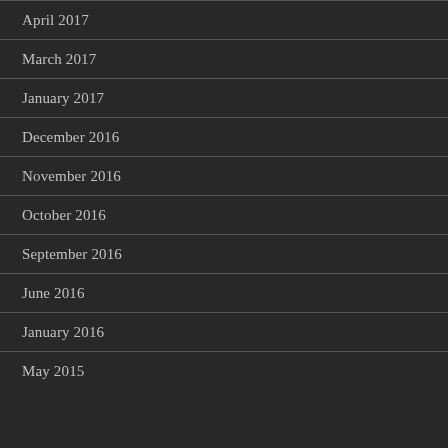April 2017
March 2017
January 2017
December 2016
November 2016
October 2016
September 2016
June 2016
January 2016
May 2015